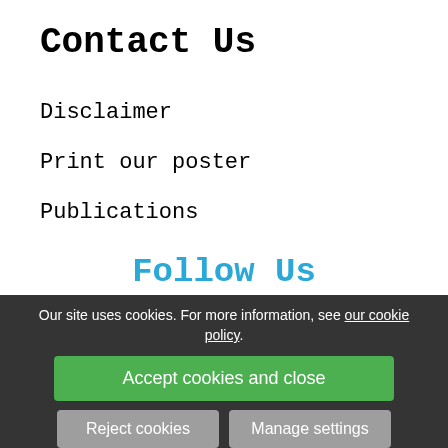Contact Us
Disclaimer
Print our poster
Publications
Follow Us
Our site uses cookies. For more information, see our cookie policy.
Accept cookies and close
Reject cookies
Manage settings